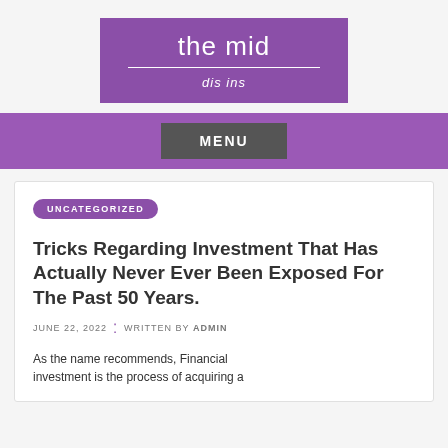[Figure (logo): Purple logo box with 'the mid' title and 'dis ins' subtitle in italic]
MENU
UNCATEGORIZED
Tricks Regarding Investment That Has Actually Never Ever Been Exposed For The Past 50 Years.
JUNE 22, 2022 ⁚ WRITTEN BY ADMIN
As the name recommends, Financial investment is the process of acquiring a